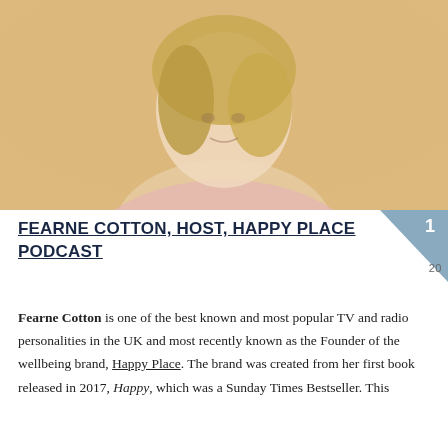[Figure (photo): Portrait photo of Fearne Cotton, a blonde woman wearing a pink knit sweater, photographed against a warm beige/tan background, looking over her shoulder toward the camera with a slight smile.]
FEARNE COTTON, HOST, HAPPY PLACE PODCAST
Fearne Cotton is one of the best known and most popular TV and radio personalities in the UK and most recently known as the Founder of the wellbeing brand, Happy Place. The brand was created from her first book released in 2017, Happy, which was a Sunday Times Bestseller. This